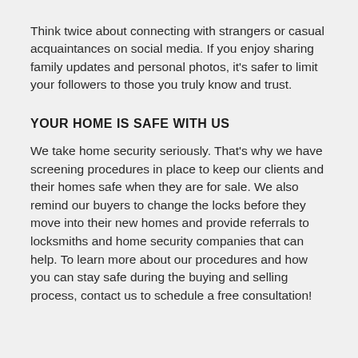Think twice about connecting with strangers or casual acquaintances on social media. If you enjoy sharing family updates and personal photos, it's safer to limit your followers to those you truly know and trust.
YOUR HOME IS SAFE WITH US
We take home security seriously. That's why we have screening procedures in place to keep our clients and their homes safe when they are for sale. We also remind our buyers to change the locks before they move into their new homes and provide referrals to locksmiths and home security companies that can help. To learn more about our procedures and how you can stay safe during the buying and selling process, contact us to schedule a free consultation!